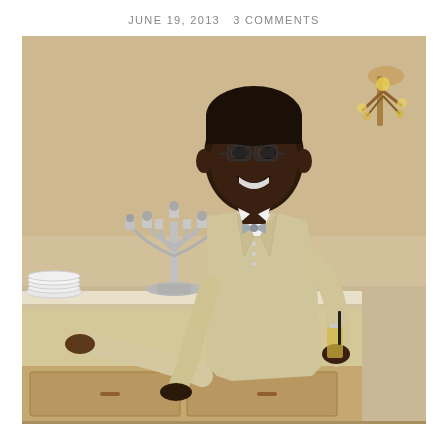JUNE 19, 2013   3 COMMENTS
[Figure (photo): A man wearing glasses, a light beige/tan suit, white dress shirt, and a grey bow tie, smiling and holding a drink. He is leaning against a white sideboard with a silver candelabra on it. The background shows a warm beige wall with a decorative wall sconce. There are stacked white plates visible on the left side of the sideboard.]